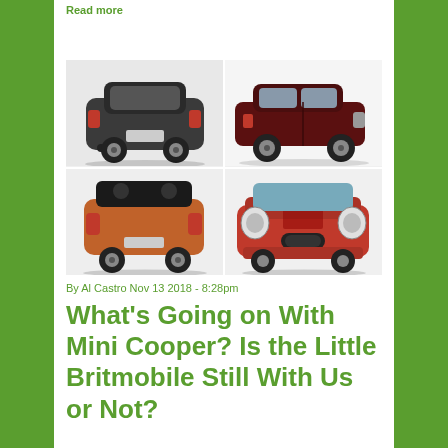Read more
[Figure (photo): Four Mini Cooper cars in a 2x2 grid: top-left shows rear view of dark gray Mini Cooper, top-right shows side view of dark red/maroon Mini Cooper SUV, bottom-left shows rear view of orange/copper Mini Cooper convertible with top down, bottom-right shows front view of red Mini Cooper S convertible.]
By Al Castro Nov 13 2018 - 8:28pm
What's Going on With Mini Cooper? Is the Little Britmobile Still With Us or Not?